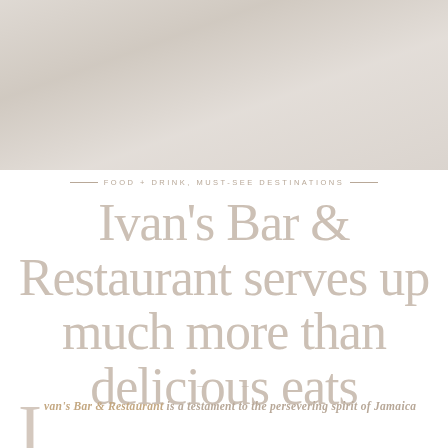[Figure (photo): Faded/washed out photograph of Ivan's Bar & Restaurant, showing an outdoor dining area or building exterior with light, muted tones.]
FOOD + DRINK, MUST-SEE DESTINATIONS
Ivan's Bar & Restaurant serves up much more than delicious eats
Ivan's Bar & Restaurant is a testament to the persevering spirit of Jamaica
This renowned establishment...